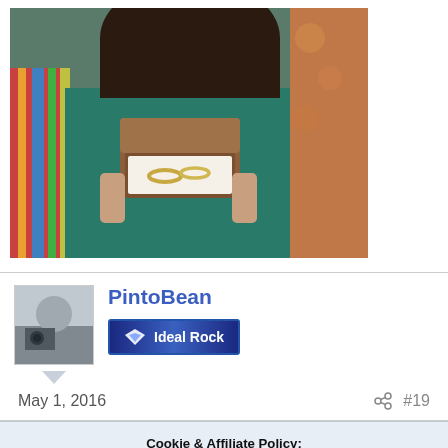[Figure (photo): A photo showing a person holding a wooden jewelry box with rings inside, wearing a teal/green patterned outfit. The background has colorful striped fabric.]
PintoBean
[Figure (logo): Ideal Rock badge/banner with a diamond icon and text 'Ideal Rock' on a blue gradient background]
May 1, 2016
#19
Cookie & Affiliate Policy:
This site uses cookies to help personalise content, tailor your experience and to keep you logged in if you have registered.
We may generate affiliate revenue through the links/ads on this site.
We NEVER accept paid reviews and take great pride in providing honest opinions and objective information on products & services.
By continuing to use this site, you are consenting to our use of cookie policy.
✓ Accept
Learn more...